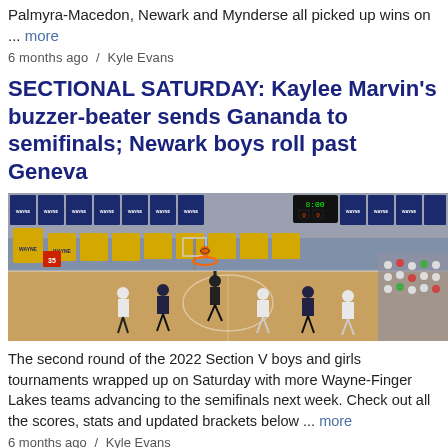Palmyra-Macedon, Newark and Mynderse all picked up wins on ... more
6 months ago / Kyle Evans
SECTIONAL SATURDAY: Kaylee Marvin's buzzer-beater sends Gananda to semifinals; Newark boys roll past Geneva
[Figure (photo): Basketball game in progress at Wayne gymnasium with players on court, referee with hand raised, spectators in stands, gold and blue championship banners on walls, scoreboard showing 8:00.]
The second round of the 2022 Section V boys and girls tournaments wrapped up on Saturday with more Wayne-Finger Lakes teams advancing to the semifinals next week. Check out all the scores, stats and updated brackets below ... more
6 months ago / Kyle Evans